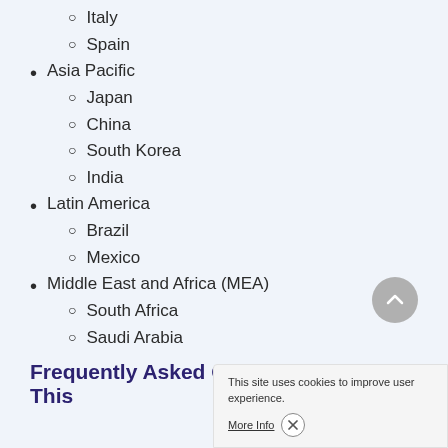Italy
Spain
Asia Pacific
Japan
China
South Korea
India
Latin America
Brazil
Mexico
Middle East and Africa (MEA)
South Africa
Saudi Arabia
Frequently Asked Questions About This